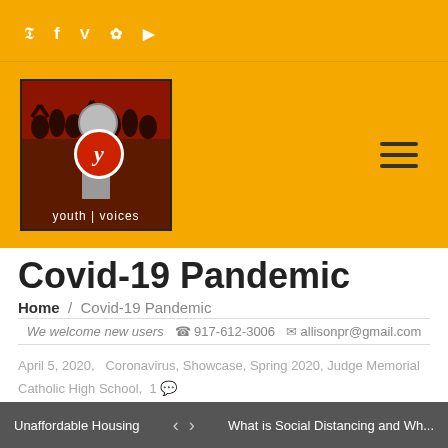Social icons: Twitter, Facebook, Vimeo, Flickr, YouTube
[Figure (logo): Youth Voices logo with microphone graphic and circular yv badge on dark red background with silhouette figures]
Covid-19 Pandemic
Home / Covid-19 Pandemic
We welcome new users  917-612-3006  allisonpr@gmail.com
April 5, 2020,  Coronavirus, Showcase, Spring 2020, Judge Memorial Catholic High School,  1
Unaffordable Housing  <  >  What is Social Distancing and Wh...